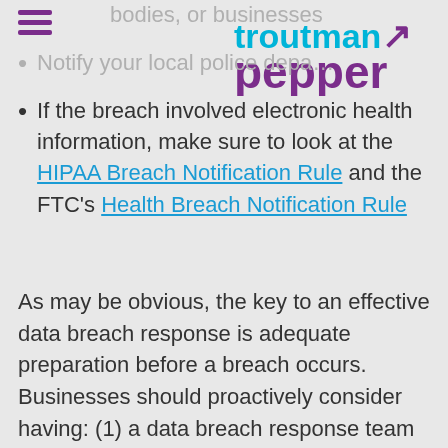[Figure (logo): Troutman Pepper law firm logo with hamburger menu icon on the left and the troutman pepper wordmark on the right in cyan and purple]
bodies, or businesses
Notify your local police depa...
If the breach involved electronic health information, make sure to look at the HIPAA Breach Notification Rule and the FTC's Health Breach Notification Rule
As may be obvious, the key to an effective data breach response is adequate preparation before a breach occurs. Businesses should proactively consider having: (1) a data breach response team informed and ready to respond in case a security incident is discovered; (2) an effective communication plan to involve legal